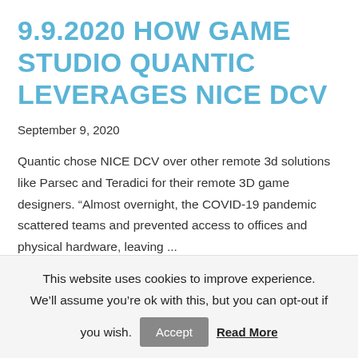9.9.2020 HOW GAME STUDIO QUANTIC LEVERAGES NICE DCV
September 9, 2020
Quantic chose NICE DCV over other remote 3d solutions like Parsec and Teradici for their remote 3D game designers. “Almost overnight, the COVID-19 pandemic scattered teams and prevented access to offices and physical hardware, leaving ...
This website uses cookies to improve experience. We’ll assume you’re ok with this, but you can opt-out if you wish.
Accept
Read More